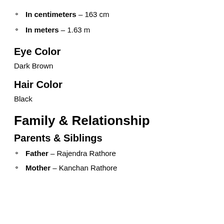In centimeters – 163 cm
In meters – 1.63 m
Eye Color
Dark Brown
Hair Color
Black
Family & Relationship
Parents & Siblings
Father – Rajendra Rathore
Mother – Kanchan Rathore